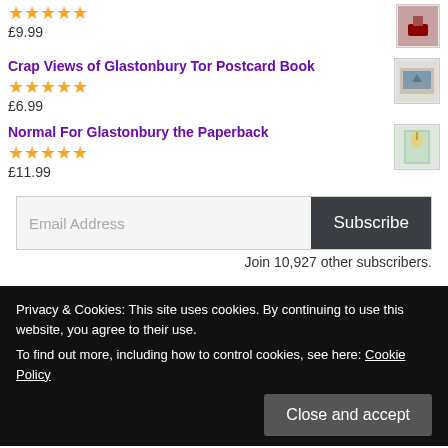★★★★★ £9.99
Crap Views of Glastonbury Tor Postcard Book ★★★★★ £6.99
Normal For Glastonbury the Paperback ★★★★★ £11.99
Email Address | Subscribe
Join 10,927 other subscribers.
Privacy & Cookies: This site uses cookies. By continuing to use this website, you agree to their use. To find out more, including how to control cookies, see here: Cookie Policy
Close and accept